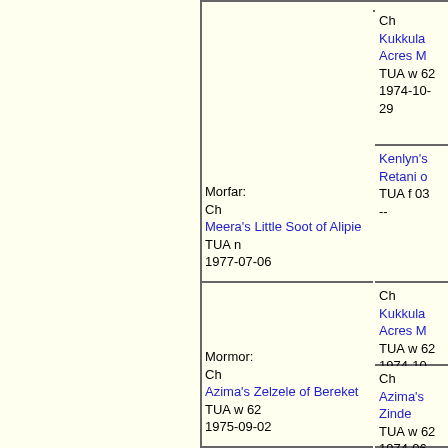| Morfar:
Ch
Meera's Little Soot of Alipie
TUA n
1977-07-06 | Ch
Kukkula Acres M
TUA w 62
1974-10-29 |
|  | Kenlyn's Retani o
TUA f 03
-- |
| Mormor:
Ch
Azima's Zelzele of Bereket
TUA w 62
1975-09-02 | Ch
Kukkula Acres M
TUA w 62
1974-10-29 |
|  | Ch
Azima's Zinde
TUA w 62
1974-06-18 |